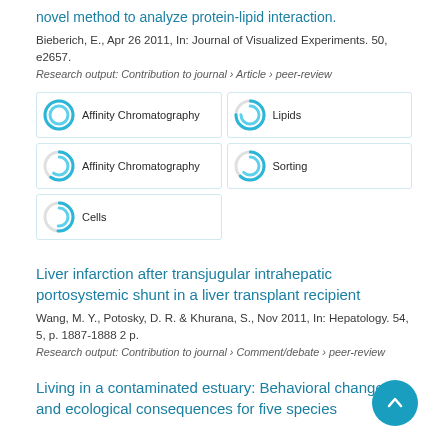novel method to analyze protein-lipid interaction.
Bieberich, E., Apr 26 2011, In: Journal of Visualized Experiments. 50, e2657.
Research output: Contribution to journal › Article › peer-review
[Figure (infographic): Five keyword badges: Affinity Chromatography (100%), Lipids (75%), Affinity Chromatography (60%), Sorting (62%), Cells (51%)]
Liver infarction after transjugular intrahepatic portosystemic shunt in a liver transplant recipient
Wang, M. Y., Potosky, D. R. & Khurana, S., Nov 2011, In: Hepatology. 54, 5, p. 1887-1888 2 p.
Research output: Contribution to journal › Comment/debate › peer-review
Living in a contaminated estuary: Behavioral changes and ecological consequences for five species